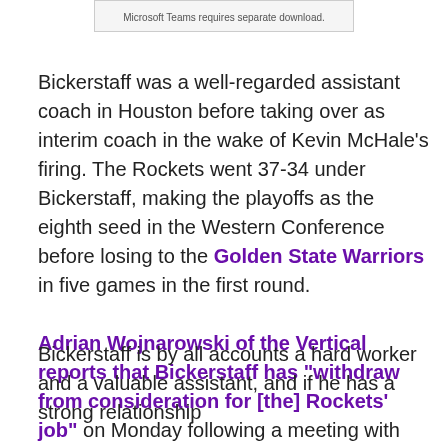[Figure (screenshot): Screenshot box with text: Microsoft Teams requires separate download.]
Bickerstaff was a well-regarded assistant coach in Houston before taking over as interim coach in the wake of Kevin McHale's firing. The Rockets went 37-34 under Bickerstaff, making the playoffs as the eighth seed in the Western Conference before losing to the Golden State Warriors in five games in the first round.

Adrian Wojnarowski of the Vertical reports that Bickerstaff has "withdraw from consideration for [the] Rockets' job" on Monday following a meeting with team ownership and the front office, and he could be an interesting candidate to join the Lakers' coaching staff.

Bickerstaff is by all accounts a hard worker and a valuable assistant, and if he has a strong relationship
Bickerstaff is by all accounts a hard worker and a valuable assistant, and if he has a strong relationship